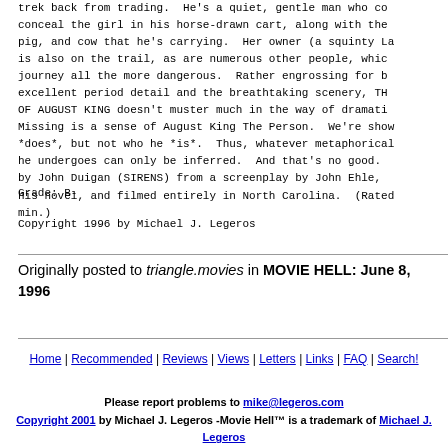trek back from trading. He's a quiet, gentle man who conceal the girl in his horse-drawn cart, along with the pig, and cow that he's carrying. Her owner (a squinty La is also on the trail, as are numerous other people, which journey all the more dangerous. Rather engrossing for b excellent period detail and the breathtaking scenery, TH OF AUGUST KING doesn't muster much in the way of dramati Missing is a sense of August King The Person. We're sho *does*, but not who he *is*. Thus, whatever metaphorical he undergoes can only be inferred. And that's no good. by John Duigan (SIRENS) from a screenplay by John Ehle, his novel, and filmed entirely in North Carolina. (Rated min.)
Grade: B-
Copyright 1996 by Michael J. Legeros
Originally posted to triangle.movies in MOVIE HELL: June 8, 1996
Home | Recommended | Reviews | Views | Letters | Links | FAQ | Search!
Please report problems to mike@legeros.com
Copyright 2001 by Michael J. Legeros -Movie Hell™ is a trademark of Michael J. Legeros